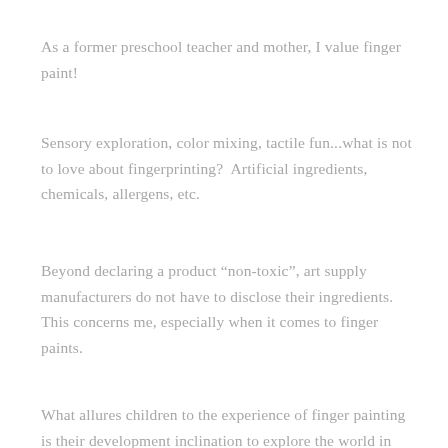As a former preschool teacher and mother, I value finger paint!
Sensory exploration, color mixing, tactile fun...what is not to love about fingerprinting?  Artificial ingredients, chemicals, allergens, etc.
Beyond declaring a product “non-toxic”, art supply manufacturers do not have to disclose their ingredients.  This concerns me, especially when it comes to finger paints.
What allures children to the experience of finger painting is their development inclination to explore the world in tactile and sensory ways of f...